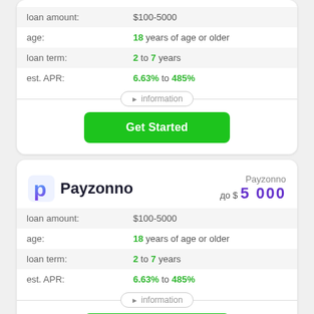|  |  |
| --- | --- |
| loan amount: | $100-5000 |
| age: | 18 years of age or older |
| loan term: | 2 to 7 years |
| est. APR: | 6.63% to 485% |
information
Get Started
[Figure (logo): Payzonno logo with blue-purple P icon and bold black Payzonno text, with Payzonno name and до $5 000 shown to the right]
|  |  |
| --- | --- |
| loan amount: | $100-5000 |
| age: | 18 years of age or older |
| loan term: | 2 to 7 years |
| est. APR: | 6.63% to 485% |
information
Get Started